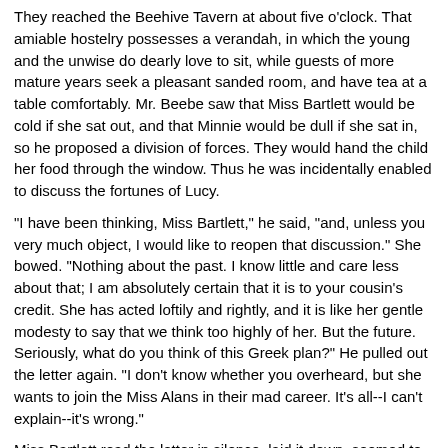They reached the Beehive Tavern at about five o'clock. That amiable hostelry possesses a verandah, in which the young and the unwise do dearly love to sit, while guests of more mature years seek a pleasant sanded room, and have tea at a table comfortably. Mr. Beebe saw that Miss Bartlett would be cold if she sat out, and that Minnie would be dull if she sat in, so he proposed a division of forces. They would hand the child her food through the window. Thus he was incidentally enabled to discuss the fortunes of Lucy.
"I have been thinking, Miss Bartlett," he said, "and, unless you very much object, I would like to reopen that discussion." She bowed. "Nothing about the past. I know little and care less about that; I am absolutely certain that it is to your cousin's credit. She has acted loftily and rightly, and it is like her gentle modesty to say that we think too highly of her. But the future. Seriously, what do you think of this Greek plan?" He pulled out the letter again. "I don't know whether you overheard, but she wants to join the Miss Alans in their mad career. It's all--I can't explain--it's wrong."
Miss Bartlett read the letter in silence, laid it down, seemed to hesitate, and then read it again.
"I can't see the point of it myself."
To his astonishment, she replied: "There I cannot agree with you. In it I spy Lucy's salvation."
"Really. Now, why?"
"She wanted to leave Windy Corner."
"I know--but it seems so odd, so unlike her, so--I was going to say--